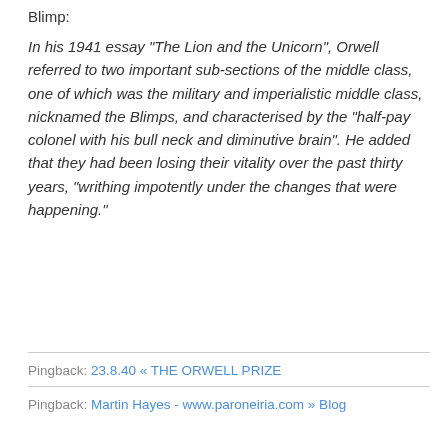Blimp:
In his 1941 essay “The Lion and the Unicorn”, Orwell referred to two important sub-sections of the middle class, one of which was the military and imperialistic middle class, nicknamed the Blimps, and characterised by the “half-pay colonel with his bull neck and diminutive brain”. He added that they had been losing their vitality over the past thirty years, “writhing impotently under the changes that were happening.”
Pingback: 23.8.40 « THE ORWELL PRIZE
Pingback: Martin Hayes - www.paroneiria.com » Blog